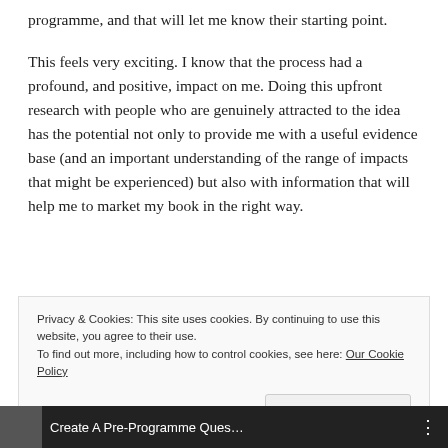programme, and that will let me know their starting point.
This feels very exciting. I know that the process had a profound, and positive, impact on me. Doing this upfront research with people who are genuinely attracted to the idea has the potential not only to provide me with a useful evidence base (and an important understanding of the range of impacts that might be experienced) but also with information that will help me to market my book in the right way.
Privacy & Cookies: This site uses cookies. By continuing to use this website, you agree to their use.
To find out more, including how to control cookies, see here: Our Cookie Policy
Close and accept
Create A Pre-Programme Ques...